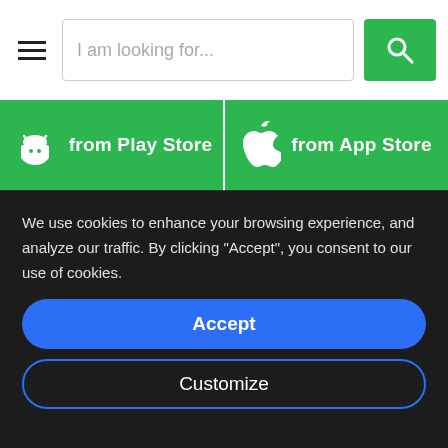I am looking for...
[Figure (screenshot): Green Play Store download button with Android robot icon and text 'from Play Store']
[Figure (screenshot): Green App Store download button with Apple logo icon and text 'from App Store']
AEDs and Accessories
Ambulance equipment
Clinic equipment
Diagnostic Equipment
Emergency Evacuation
We use cookies to enhance your browsing experience, and analyze our traffic. By clicking "Accept", you consent to our use of cookies.
Accept
Customize